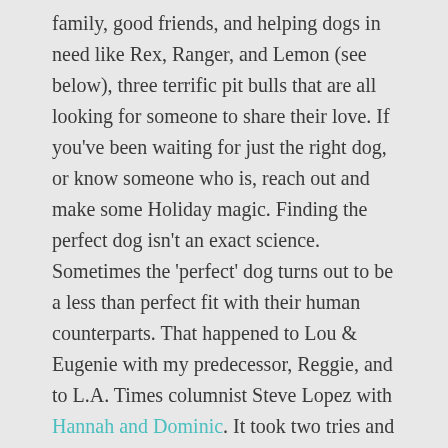family, good friends, and helping dogs in need like Rex, Ranger, and Lemon (see below), three terrific pit bulls that are all looking for someone to share their love. If you've been waiting for just the right dog, or know someone who is, reach out and make some Holiday magic. Finding the perfect dog isn't an exact science. Sometimes the 'perfect' dog turns out to be a less than perfect fit with their human counterparts. That happened to Lou & Eugenie with my predecessor, Reggie, and to L.A. Times columnist Steve Lopez with Hannah and Dominic. It took two tries and a lot of handwringing but eventually both dogs found their forever homes. Another way to help pups in peril is to buy a copy of GIMME SHELTER. You'll get our Holiday discount and you'll be spreading the word that pit bulls make great pets and we'll donate a portion of the sale to one of our awesome rescue partners.